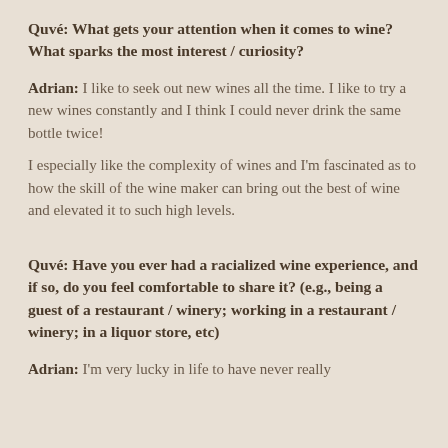Quvé: What gets your attention when it comes to wine? What sparks the most interest / curiosity?
Adrian: I like to seek out new wines all the time. I like to try a new wines constantly and I think I could never drink the same bottle twice!
I especially like the complexity of wines and I'm fascinated as to how the skill of the wine maker can bring out the best of wine and elevated it to such high levels.
Quvé: Have you ever had a racialized wine experience, and if so, do you feel comfortable to share it? (e.g., being a guest of a restaurant / winery; working in a restaurant / winery; in a liquor store, etc)
Adrian: I'm very lucky in life to have never really